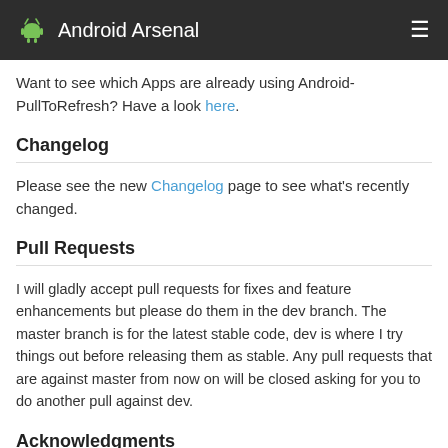Android Arsenal
Want to see which Apps are already using Android-PullToRefresh? Have a look here.
Changelog
Please see the new Changelog page to see what's recently changed.
Pull Requests
I will gladly accept pull requests for fixes and feature enhancements but please do them in the dev branch. The master branch is for the latest stable code, dev is where I try things out before releasing them as stable. Any pull requests that are against master from now on will be closed asking for you to do another pull against dev.
Acknowledgments